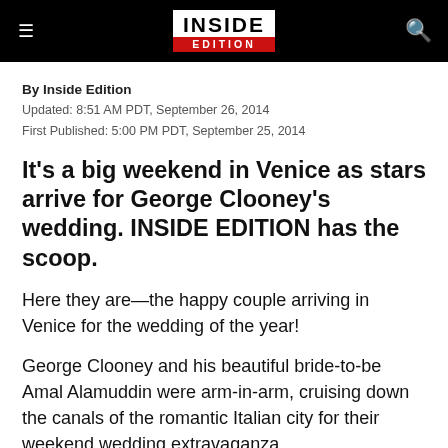[Figure (logo): Inside Edition logo: white text 'INSIDE' over red banner 'EDITION', black background header with hamburger menu and search icon]
By Inside Edition
Updated: 8:51 AM PDT, September 26, 2014
First Published: 5:00 PM PDT, September 25, 2014
It's a big weekend in Venice as stars arrive for George Clooney's wedding. INSIDE EDITION has the scoop.
Here they are—the happy couple arriving in Venice for the wedding of the year!
George Clooney and his beautiful bride-to-be Amal Alamuddin were arm-in-arm, cruising down the canals of the romantic Italian city for their weekend wedding extravaganza.